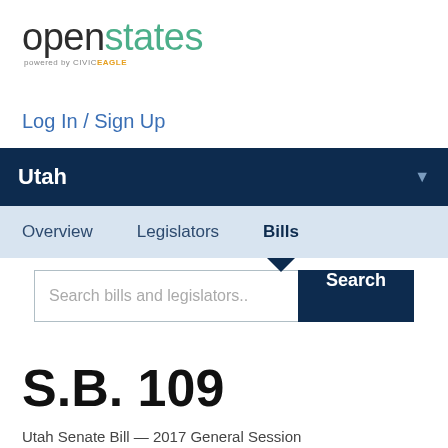[Figure (logo): openstates logo powered by CIVICEAGLE]
Log In / Sign Up
Utah
Overview  Legislators  Bills
Search bills and legislators..
S.B. 109
Utah Senate Bill — 2017 General Session